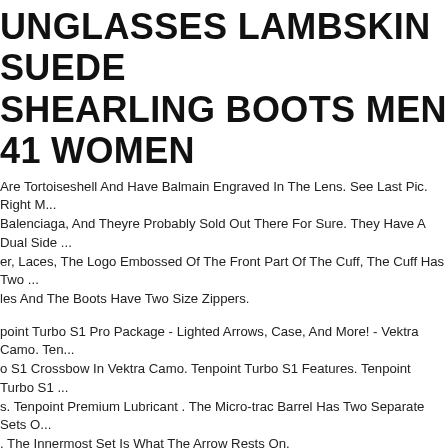UNGLASSES LAMBSKIN SUEDE SHEARLING BOOTS MEN 41 WOMEN
Are Tortoiseshell And Have Balmain Engraved In The Lens. See Last Pic. Right M... Balenciaga, And Theyre Probably Sold Out There For Sure. They Have A Dual Side ... er, Laces, The Logo Embossed Of The Front Part Of The Cuff, The Cuff Has Two ... les And The Boots Have Two Size Zippers.
point Turbo S1 Pro Package - Lighted Arrows, Case, And More! - Vektra Camo. Ten... o S1 Crossbow In Vektra Camo. Tenpoint Turbo S1 Features. Tenpoint Turbo S1 ... s. Tenpoint Premium Lubricant . The Micro-trac Barrel Has Two Separate Sets O... . The Innermost Set Is What The Arrow Rests On.
Reeve Mark Vi Hollow Handle Knife Survival Expedition Combat. Carried For Abo... Never Abused. Hell, Never Used At All. Factory Edge. They Were Usually Squared... l. Rare Knife. Vi Was The Final Production Of His Famous Hollow Handle Knives
LIGHTFORCE ATACR 5-25X56MM RIFLESCOPE, 34MM, ZEROSTOP, .25 MOA, DIGILLUM : C555